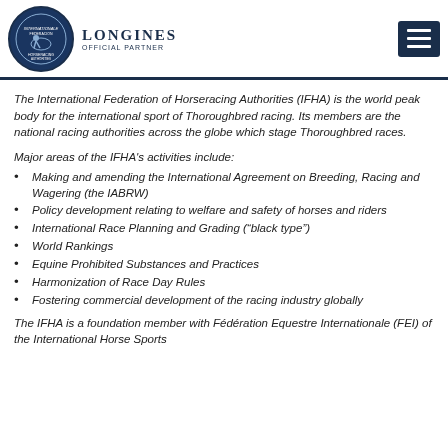IFHA logo with Longines Official Partner
The International Federation of Horseracing Authorities (IFHA) is the world peak body for the international sport of Thoroughbred racing. Its members are the national racing authorities across the globe which stage Thoroughbred races.
Major areas of the IFHA's activities include:
Making and amending the International Agreement on Breeding, Racing and Wagering (the IABRW)
Policy development relating to welfare and safety of horses and riders
International Race Planning and Grading (“black type”)
World Rankings
Equine Prohibited Substances and Practices
Harmonization of Race Day Rules
Fostering commercial development of the racing industry globally
The IFHA is a foundation member with Fédération Equestre Internationale (FEI) of the International Horse Sports